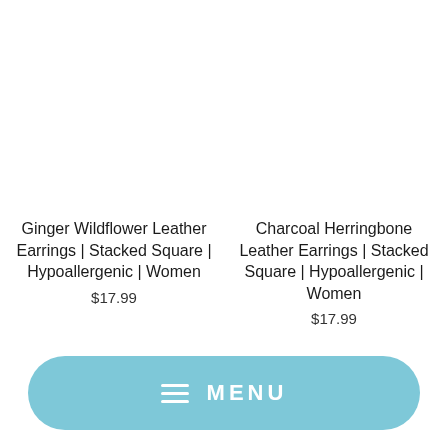Ginger Wildflower Leather Earrings | Stacked Square | Hypoallergenic | Women
$17.99
Charcoal Herringbone Leather Earrings | Stacked Square | Hypoallergenic | Women
$17.99
MENU